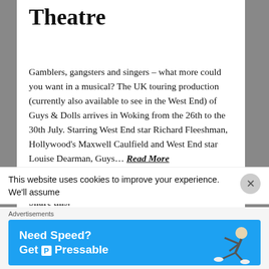Theatre
Gamblers, gangsters and singers – what more could you want in a musical? The UK touring production (currently also available to see in the West End) of Guys & Dolls arrives in Woking from the 26th to the 30th July.  Starring West End star Richard Fleeshman, Hollywood's Maxwell Caulfield and West End star Louise Dearman,  Guys… Read More
Share this:
This website uses cookies to improve your experience. We'll assume
Advertisements
Need Speed?
Get P Pressable